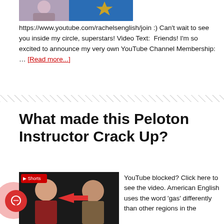[Figure (screenshot): Partial thumbnail of a YouTube video showing a woman and a gold star graphic with yellow circle overlay]
https://www.youtube.com/rachelsenglish/join :) Can't wait to see you inside my circle, superstars! Video Text:  Friends! I'm so excited to announce my very own YouTube Channel Membership:  … [Read more...]
[Figure (other): Diagonal hatch divider line across page]
What made this Peloton Instructor Crack Up?
[Figure (screenshot): YouTube Shorts thumbnail showing a Peloton instructor laughing and Rachel with finger raised, with a red arrow pointing left, pink blob and red chat button overlay]
YouTube blocked? Click here to see the video. American English uses the word 'gas' differently than other regions in the